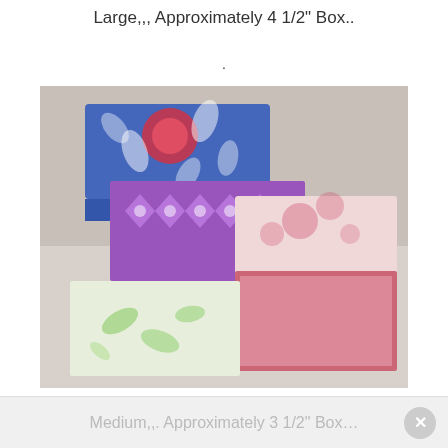Large,,, Approximately 4 1/2" Box..
.
[Figure (photo): Several decorative paper/cardboard boxes in various patterns and colors: a blue floral box, a purple geometric box, a pink floral lidded box, and an open pink box, arranged on a light surface.]
Medium,,. Approximately 3 1/2" Box…